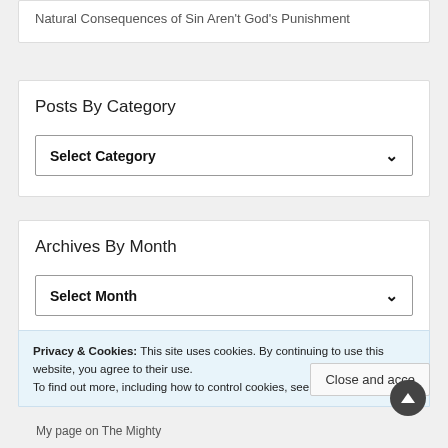Natural Consequences of Sin Aren’t God’s Punishment
Posts By Category
Select Category
Archives By Month
Select Month
Privacy & Cookies: This site uses cookies. By continuing to use this website, you agree to their use.
To find out more, including how to control cookies, see here: Cookie Policy
Close and acce...
My page on The Mighty